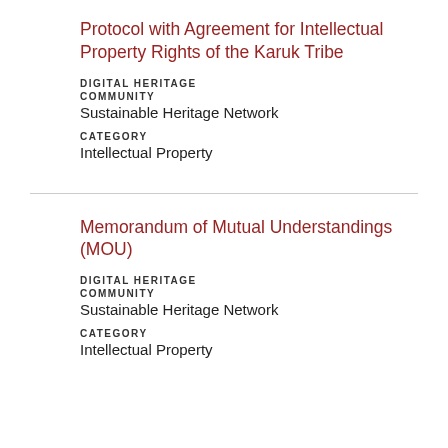Protocol with Agreement for Intellectual Property Rights of the Karuk Tribe
DIGITAL HERITAGE
COMMUNITY
Sustainable Heritage Network
CATEGORY
Intellectual Property
Memorandum of Mutual Understandings (MOU)
DIGITAL HERITAGE
COMMUNITY
Sustainable Heritage Network
CATEGORY
Intellectual Property